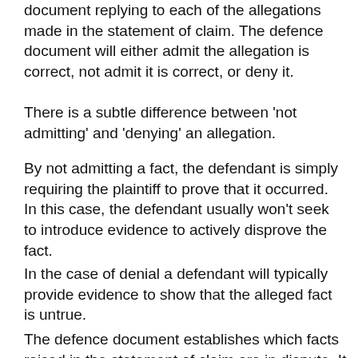document replying to each of the allegations made in the statement of claim. The defence document will either admit the allegation is correct, not admit it is correct, or deny it.
There is a subtle difference between 'not admitting' and 'denying' an allegation.
By not admitting a fact, the defendant is simply requiring the plaintiff to prove that it occurred. In this case, the defendant usually won't seek to introduce evidence to actively disprove the fact.
In the case of denial a defendant will typically provide evidence to show that the alleged fact is untrue.
The defence document establishes which facts raised in the statement of claim are in dispute. It is these allegations that will be ruled on by the court.